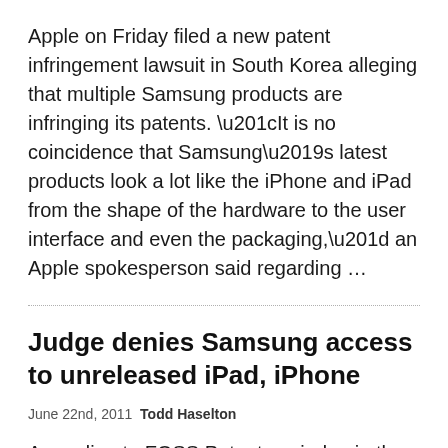Apple on Friday filed a new patent infringement lawsuit in South Korea alleging that multiple Samsung products are infringing its patents. “It is no coincidence that Samsung’s latest products look a lot like the iPhone and iPad from the shape of the hardware to the user interface and even the packaging,” an Apple spokesperson said regarding ...
Judge denies Samsung access to unreleased iPad, iPhone
June 22nd, 2011 Todd Haselton
According to FOSS Patents, a judge in the U.S. District Court in the Northern District of California has ruled that Samsung cannot view Apple’s next-generation iPad and iPhone products. The whole debacle started